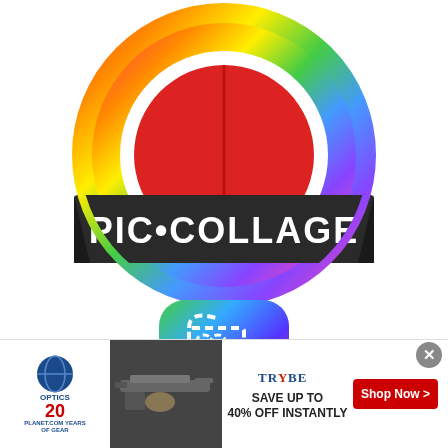[Figure (logo): PIC•COLLAGE app logo — colorful gear/stamp shape with rainbow gradient border, red circle center, and dark banner with white text reading PIC•COLLAGE]
[Figure (logo): Book Creator app icon — rounded square with rainbow gradient background, white dashed heart/document shape with scissors]
BOOK CREATOR
[Figure (screenshot): Advertisement banner: Optics Planet 20 years of gear logo on left, gun rifle image in center-left, TrYbe logo with 'SAVE UP TO 40% OFF INSTANTLY' text, and red 'Shop Now >' button on right. Close X button in top right corner.]